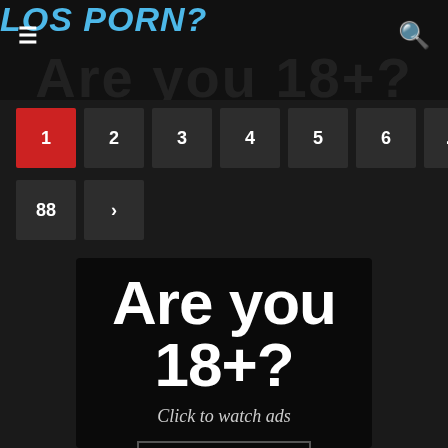LOS PORN?
Are you 18+?
1
2
3
4
5
6
...
88
>
[Figure (screenshot): Age verification popup with text 'Are you 18+?', subtext 'Click to watch ads', and a YES button]
Are you 18+?
Click to watch ads
YES